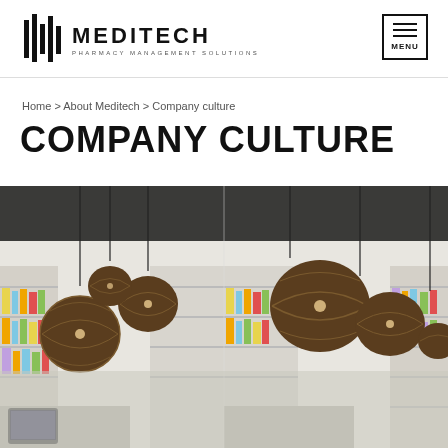MEDITECH PHARMACY MANAGEMENT SOLUTIONS | MENU
Home > About Meditech > Company culture
COMPANY CULTURE
[Figure (photo): Interior photo of a modern pharmacy with dark wicker globe pendant lights hanging from the ceiling and white shelving stocked with pharmaceutical products. A POS/tablet is visible on the counter. The image appears mirrored or split in the middle showing two panels of the same pharmacy interior.]